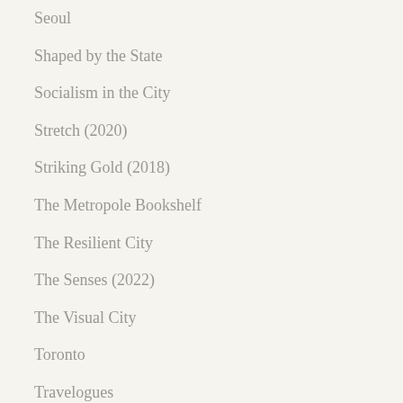Seoul
Shaped by the State
Socialism in the City
Stretch (2020)
Striking Gold (2018)
The Metropole Bookshelf
The Resilient City
The Senses (2022)
The Visual City
Toronto
Travelogues
Twin Cities